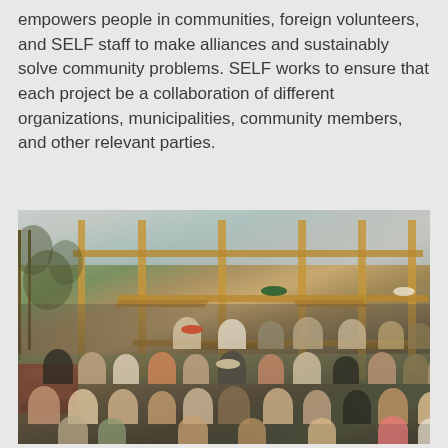empowers people in communities, foreign volunteers, and SELF staff to make alliances and sustainably solve community problems. SELF works to ensure that each project be a collaboration of different organizations, municipalities, community members, and other relevant parties.
[Figure (photo): A group photo of approximately 25-30 people standing in front of a wooden building frame under construction. The structure has exposed timber framing. People are arranged in multiple rows. There are trees visible and an open landscape in the background. A pile of bricks is visible in the lower left.]